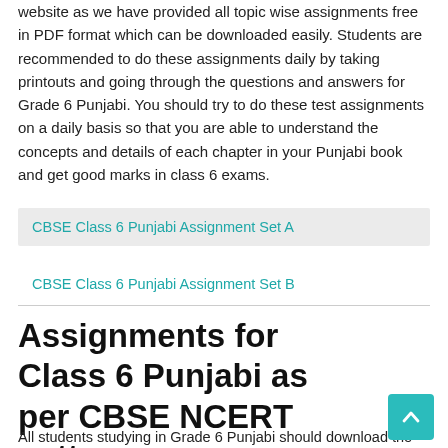website as we have provided all topic wise assignments free in PDF format which can be downloaded easily. Students are recommended to do these assignments daily by taking printouts and going through the questions and answers for Grade 6 Punjabi. You should try to do these test assignments on a daily basis so that you are able to understand the concepts and details of each chapter in your Punjabi book and get good marks in class 6 exams.
CBSE Class 6 Punjabi Assignment Set A
CBSE Class 6 Punjabi Assignment Set B
Assignments for Class 6 Punjabi as per CBSE NCERT pattern
All students studying in Grade 6 Punjabi should download the